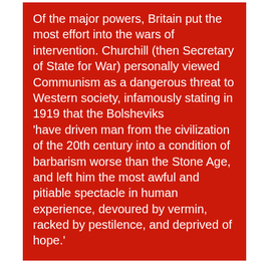Of the major powers, Britain put the most effort into the wars of intervention. Churchill (then Secretary of State for War) personally viewed Communism as a dangerous threat to Western society, infamously stating in 1919 that the Bolsheviks 'have driven man from the civilization of the 20th century into a condition of barbarism worse than the Stone Age, and left him the most awful and pitiable spectacle in human experience, devoured by vermin, racked by pestilence, and deprived of hope.'